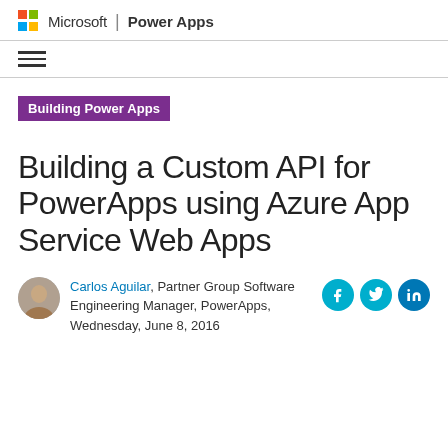Microsoft | Power Apps
Building Power Apps
Building a Custom API for PowerApps using Azure App Service Web Apps
Carlos Aguilar, Partner Group Software Engineering Manager, PowerApps, Wednesday, June 8, 2016